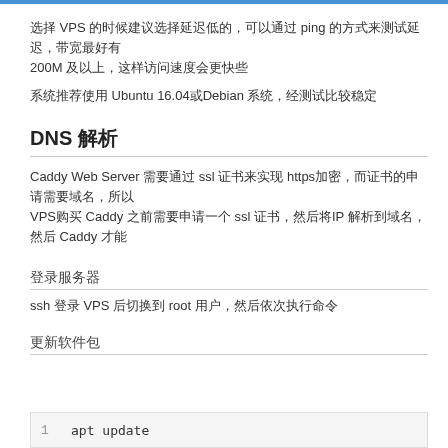选择 VPS 的时候建议选择延迟低的，可以通过 ping 的方式来测试延迟，带宽最好有 200M 及以上，这样访问速度会更快些
系统推荐使用 Ubuntu 16.04或Debian 系统，经测试比较稳定
DNS 解析
Caddy Web Server 需要通过 ssl 证书来实现 https加密，而证书的申请需要域名，所以 VPS购买 Caddy 之前需要申请一个 ssl 证书，然后将IP 解析到域名，然后 Caddy 才能
登录服务器
ssh 登录 VPS 后切换到 root 用户，然后依次执行命令
更新软件包
apt update